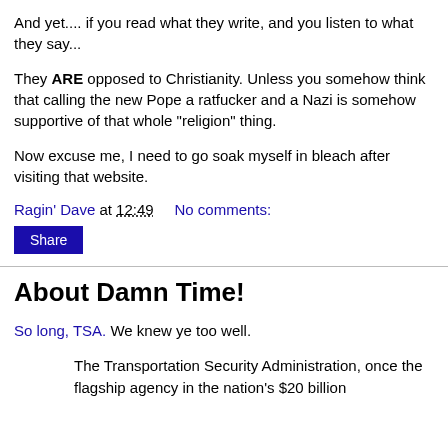And yet.... if you read what they write, and you listen to what they say...
They ARE opposed to Christianity. Unless you somehow think that calling the new Pope a ratfucker and a Nazi is somehow supportive of that whole "religion" thing.
Now excuse me, I need to go soak myself in bleach after visiting that website.
Ragin' Dave at 12:49    No comments:
Share
About Damn Time!
So long, TSA. We knew ye too well.
The Transportation Security Administration, once the flagship agency in the nation's $20 billion